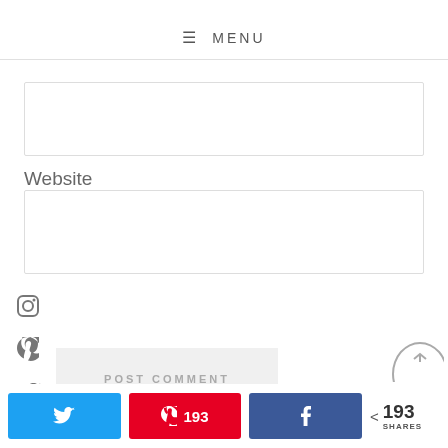≡ MENU
[Figure (screenshot): Comment text area input box (empty)]
Website
[Figure (screenshot): Website URL input field (empty)]
[Figure (infographic): Social media share sidebar icons: Instagram, Pinterest, Twitter, Google+, Email]
[Figure (screenshot): POST COMMENT button]
[Figure (screenshot): Scroll to top circular button (half visible at bottom right)]
[Figure (infographic): Bottom share bar with Tweet button, Pin 193 button, Facebook share button, and share count showing 193 SHARES]